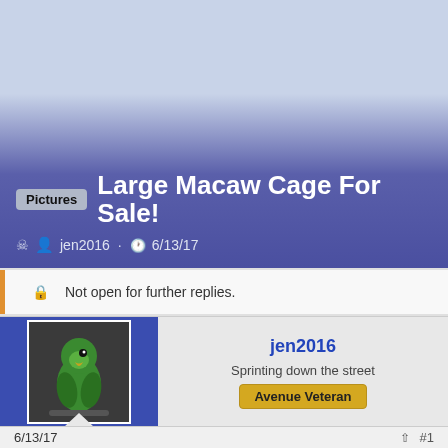[Figure (screenshot): Forum thread banner with light blue to purple gradient background showing thread title 'Large Macaw Cage For Sale!' with a 'Pictures' tag, author jen2016, and date 6/13/17]
Not open for further replies.
[Figure (photo): Small avatar photo of a green parrot on a dark background]
jen2016
Sprinting down the street
Avenue Veteran
6/13/17
#1